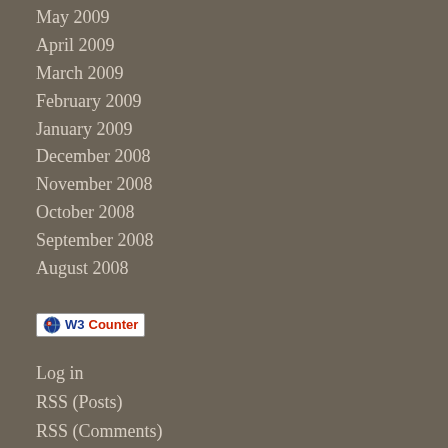May 2009
April 2009
March 2009
February 2009
January 2009
December 2008
November 2008
October 2008
September 2008
August 2008
[Figure (logo): W3Counter logo badge with globe icon]
Log in
RSS (Posts)
RSS (Comments)
death penalty. About why I've ... I'm not as saddened and/or ou... that permeates our world.
It feels like a crisis of sorts. Bu...
And it's not as if there aren't a...
So I'm going to pray about ev...
Do not be anxious about anyt... thanksgiving, present your re... transcends all understanding...
Philippians 4:6-7
[Figure (illustration): Handwritten cursive signature reading 'Julie']
Posted by Just Julie @ 10:06 a